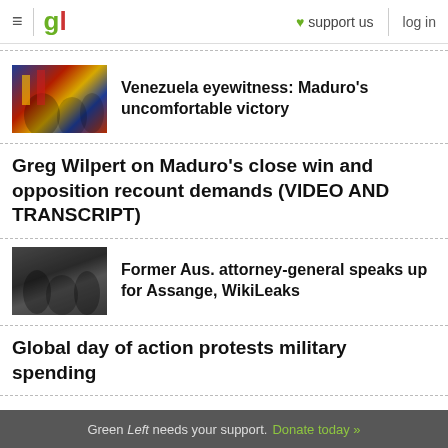gl | support us | log in
[Figure (photo): Crowd with Venezuelan flags, people celebrating]
Venezuela eyewitness: Maduro's uncomfortable victory
Greg Wilpert on Maduro's close win and opposition recount demands (VIDEO AND TRANSCRIPT)
[Figure (photo): People indoors at formal event, possibly press conference]
Former Aus. attorney-general speaks up for Assange, WikiLeaks
Global day of action protests military spending
Green Left needs your support. Donate today »